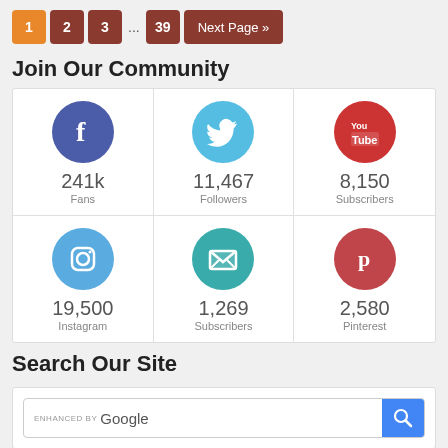1  2  3  ...  39  Next Page »
Join Our Community
[Figure (infographic): Social media community stats grid: Facebook 241k Fans, Twitter 11,467 Followers, YouTube 8,150 Subscribers, Instagram 19,500, Email 1,269 Subscribers, Pinterest 2,580]
Search Our Site
[Figure (screenshot): Google search box with ENHANCED BY label and blue search button]